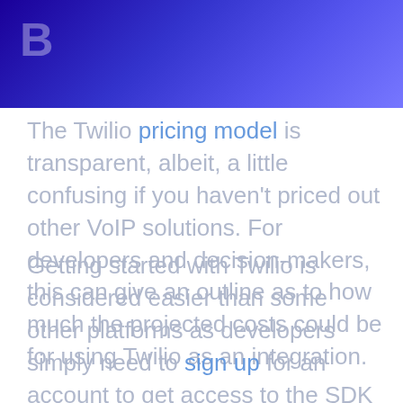[Figure (logo): Blue gradient banner header with white letter B logo]
The Twilio pricing model is transparent, albeit, a little confusing if you haven't priced out other VoIP solutions. For developers and decision-makers, this can give an outline as to how much the projected costs could be for using Twilio as an integration.
Getting started with Twilio is considered easier than some other platforms as developers simply need to sign up for an account to get access to the SDK and API. From here, developers can take advantage of the REST API to begin programming a custom integration for their platform at no cost.